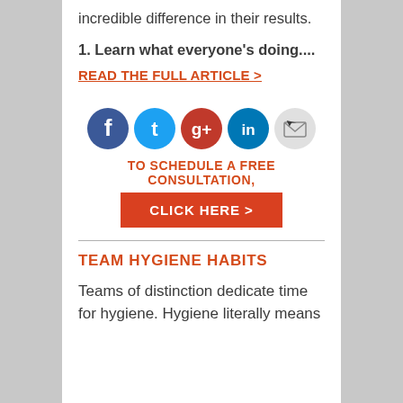incredible difference in their results.
1. Learn what everyone's doing....
READ THE FULL ARTICLE >
[Figure (infographic): Row of five social media icons: Facebook (dark blue), Twitter (light blue), Google+ (red), LinkedIn (blue), Email/envelope (light gray with cursor)]
TO SCHEDULE A FREE CONSULTATION,
CLICK HERE >
TEAM HYGIENE HABITS
Teams of distinction dedicate time for hygiene. Hygiene literally means